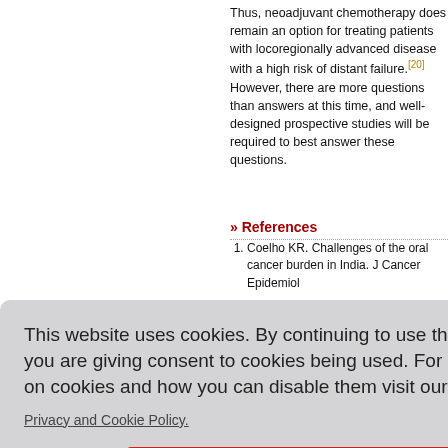Thus, neoadjuvant chemotherapy does remain an option for treating patients with locoregionally advanced disease with a high risk of distant failure.[20] However, there are more questions than answers at this time, and well-designed prospective studies will be required to best answer these questions.
» References
1. Coelho KR. Challenges of the oral cancer burden in India. J Cancer Epidemiol
This website uses cookies. By continuing to use this website you are giving consent to cookies being used. For information on cookies and how you can disable them visit our Privacy and Cookie Policy.
AGREE & PROCEED